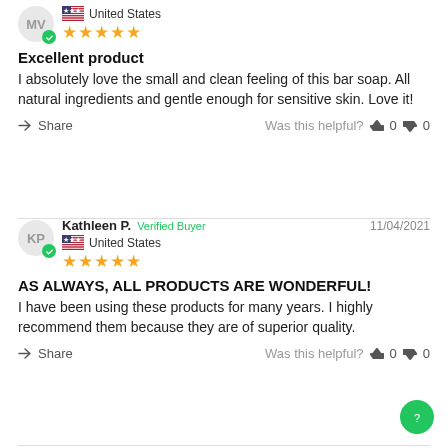[Figure (other): User avatar with initials MV and verified badge, US flag, United States, 5 stars]
Excellent product
I absolutely love the small and clean feeling of this bar soap. All natural ingredients and gentle enough for sensitive skin. Love it!
Share   Was this helpful?  👍 0  👎 0
[Figure (other): User avatar with initials KP, verified badge, Kathleen P. Verified Buyer, 11/04/2021, US flag, United States, 5 stars]
AS ALWAYS, ALL PRODUCTS ARE WONDERFUL!
I have been using these products for many years. I highly recommend them because they are of superior quality.
Share   Was this helpful?  👍 0  👎 0